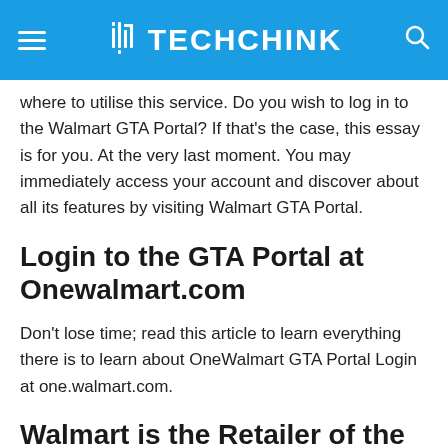TECHCHINK
where to utilise this service. Do you wish to log in to the Walmart GTA Portal? If that's the case, this essay is for you. At the very last moment. You may immediately access your account and discover about all its features by visiting Walmart GTA Portal.
Login to the GTA Portal at Onewalmart.com
Don't lose time; read this article to learn everything there is to learn about OneWalmart GTA Portal Login at one.walmart.com.
Walmart is the Retailer of the Future